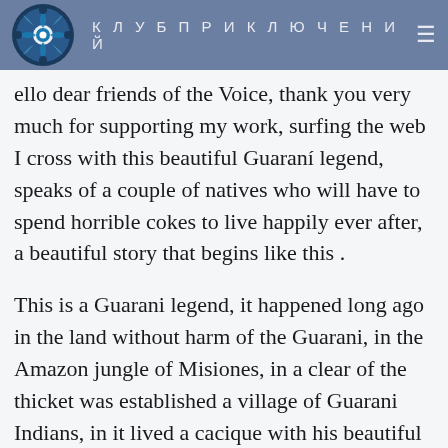КЛУБ ПРИКЛЮЧЕНИЙ
ello dear friends of the Voice, thank you very much for supporting my work, surfing the web I cross with this beautiful Guaraní legend, speaks of a couple of natives who will have to spend horrible cokes to live happily ever after, a beautiful story that begins like this .
This is a Guarani legend, it happened long ago in the land without harm of the Guarani, in the Amazon jungle of Misiones, in a clear of the thicket was established a village of Guarani Indians, in it lived a cacique with his beautiful